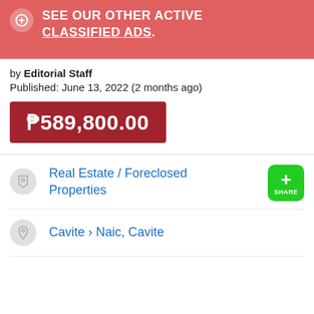SEE OUR OTHER ACTIVE CLASSIFIED ADS.
by Editorial Staff
Published: June 13, 2022 (2 months ago)
₱589,800.00
Real Estate / Foreclosed Properties
Cavite > Naic, Cavite